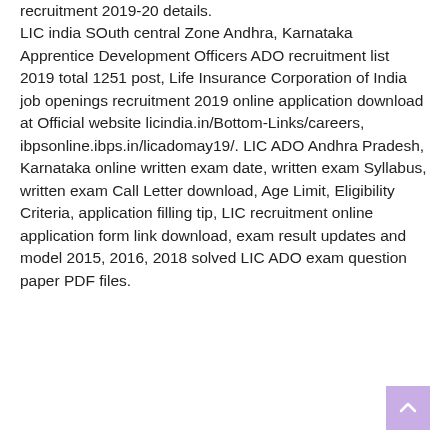recruitment 2019-20 details. LIC india SOuth central Zone Andhra, Karnataka Apprentice Development Officers ADO recruitment list 2019 total 1251 post, Life Insurance Corporation of India job openings recruitment 2019 online application download at Official website licindia.in/Bottom-Links/careers, ibpsonline.ibps.in/licadomay19/. LIC ADO Andhra Pradesh, Karnataka online written exam date, written exam Syllabus, written exam Call Letter download, Age Limit, Eligibility Criteria, application filling tip, LIC recruitment online application form link download, exam result updates and model 2015, 2016, 2018 solved LIC ADO exam question paper PDF files.